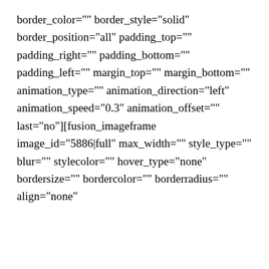border_color="" border_style="solid" border_position="all" padding_top="" padding_right="" padding_bottom="" padding_left="" margin_top="" margin_bottom="" animation_type="" animation_direction="left" animation_speed="0.3" animation_offset="" last="no"][fusion_imageframe image_id="5886|full" max_width="" style_type="" blur="" stylecolor="" hover_type="none" bordersize="" bordercolor="" borderradius="" align="none"